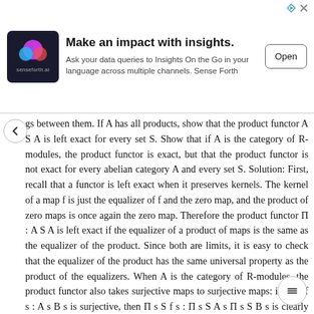[Figure (other): Advertisement banner for senseforth.ai — 'Make an impact with insights.' with logo, body text, and Open button]
gs between them. If A has all products, show that the product functor A S A is left exact for every set S. Show that if A is the category of R-modules, the product functor is exact, but that the product functor is not exact for every abelian category A and every set S. Solution: First, recall that a functor is left exact when it preserves kernels. The kernel of a map f is just the equalizer of f and the zero map, and the product of zero maps is once again the zero map. Therefore the product functor Π : A S A is left exact if the equalizer of a product of maps is the same as the equalizer of the product. Since both are limits, it is easy to check that the equalizer of the product has the same universal property as the product of the equalizers. When A is the category of R-modules, the product functor also takes surjective maps to surjective maps: if each f s : A s B s is surjective, then Π s S f s : Π s S A s Π s S B s is clearly surjective as well. This implies that the product functor is exact. If A is the abelian category of sheaves of abelian